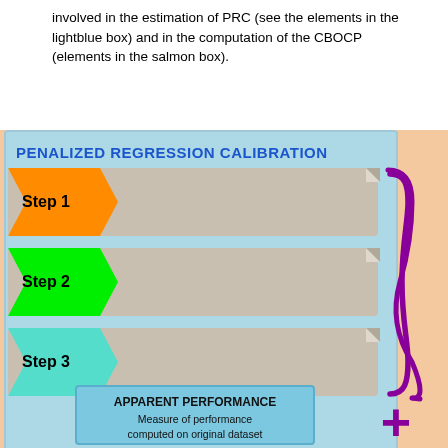involved in the estimation of PRC (see the elements in the lightblue box) and in the computation of the CBOCP (elements in the salmon box).
[Figure (infographic): Flowchart showing Penalized Regression Calibration (PRC) steps inside a light blue box on a salmon background. Step 1 (orange arrow): Model the trajectories described by the longitudinal predictors using mixed-effects models. Step 2 (green arrow): Compute summaries of the individual trajectories (predicted random effects) for each predictor / group of predictor(s). Step 3 (teal arrow): Predict survival using the summaries computed in step 2 as predictors in a penalized Cox model. A purple curly brace groups Steps 1-3. Below, a purple down arrow leads to an 'APPARENT PERFORMANCE' box: Measure of performance computed on original dataset. A large purple plus sign appears to the right.]